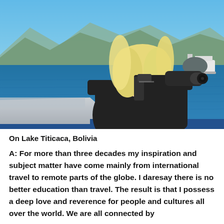[Figure (photo): A blonde woman holding a large camera up to her face, photographing from a boat on a lake. Blue water and mountains visible in background, clear sky, another boat in the distance.]
On Lake Titicaca, Bolivia
A: For more than three decades my inspiration and subject matter have come mainly from international travel to remote parts of the globe. I daresay there is no better education than travel. The result is that I possess a deep love and reverence for people and cultures all over the world. We are all connected by